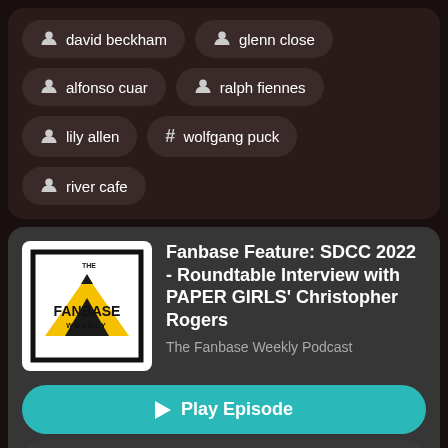david beckham
glenn close
alfonso cuar
ralph fiennes
lily allen
# wolfgang puck
river cafe
[Figure (logo): The Fanbase Weekly podcast logo — black and yellow with mountain/bird graphic]
Fanbase Feature: SDCC 2022 - Roundtable Interview with PAPER GIRLS' Christopher Rogers
The Fanbase Weekly Podcast
Play Episode